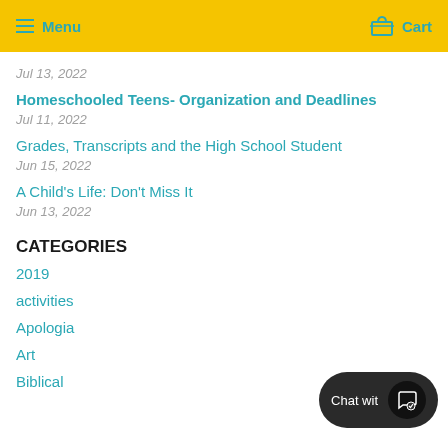Menu   Cart
Jul 13, 2022
Homeschooled Teens- Organization and Deadlines
Jul 11, 2022
Grades, Transcripts and the High School Student
Jun 15, 2022
A Child's Life: Don't Miss It
Jun 13, 2022
CATEGORIES
2019
activities
Apologia
Art
Biblical